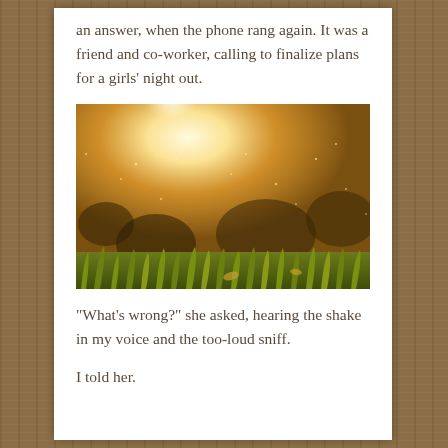an answer, when the phone rang again. It was a friend and co-worker, calling to finalize plans for a girls’ night out.
[Figure (photo): Close-up ground-level photo of grass with warm golden sunlight bokeh and dust particles in the air]
“What’s wrong?” she asked, hearing the shake in my voice and the too-loud sniff.
I told her.